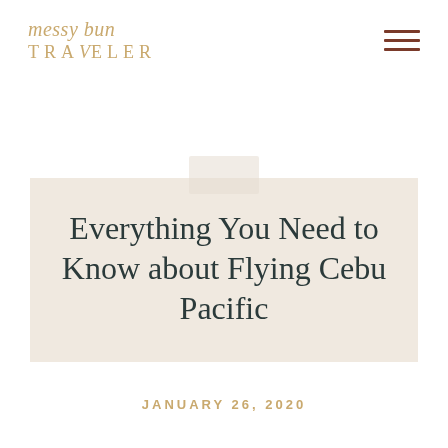messy bun TRAVELER
Everything You Need to Know about Flying Cebu Pacific
JANUARY 26, 2020